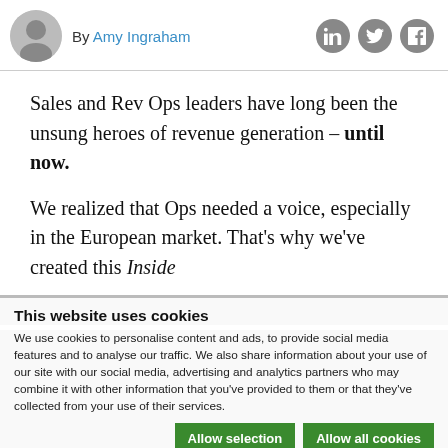By Amy Ingraham
Sales and Rev Ops leaders have long been the unsung heroes of revenue generation – until now.
We realized that Ops needed a voice, especially in the European market. That's why we've created this Inside
This website uses cookies
We use cookies to personalise content and ads, to provide social media features and to analyse our traffic. We also share information about your use of our site with our social media, advertising and analytics partners who may combine it with other information that you've provided to them or that they've collected from your use of their services.
Allow selection | Allow all cookies
Necessary  Preferences  Statistics  Marketing  Show details